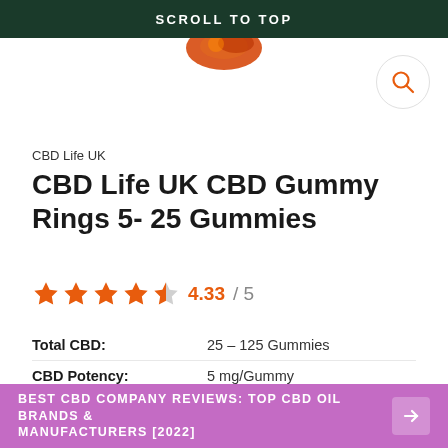SCROLL TO TOP
[Figure (photo): Partial view of colorful gummy candy ring from above]
CBD Life UK
CBD Life UK CBD Gummy Rings 5- 25 Gummies
4.33 / 5 (4.33 stars out of 5, shown with star icons)
| Property | Value |
| --- | --- |
| Total CBD: | 25 – 125 Gummies |
| CBD Potency: | 5 mg/Gummy |
| Cost per mg CBD: | £0.36 – £0.40 |
| Extract Type: | Full-Spectrum |
BEST CBD COMPANY REVIEWS: TOP CBD OIL BRANDS & MANUFACTURERS [2022]